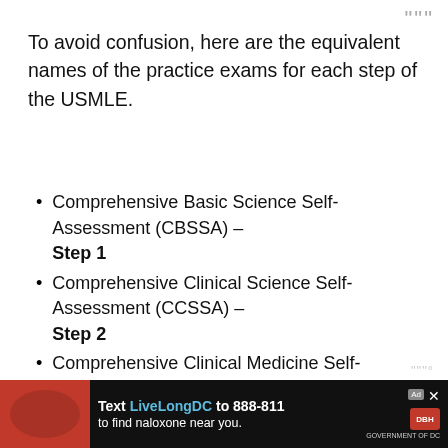To avoid confusion, here are the equivalent names of the practice exams for each step of the USMLE.
Comprehensive Basic Science Self-Assessment (CBSSA) – Step 1
Comprehensive Clinical Science Self-Assessment (CCSSA) – Step 2
Comprehensive Clinical Medicine Self-Assessment (CCMSA) –
[Figure (screenshot): Advertisement banner: Text LiveLongDC to 888-811 to find naloxone near you. Red background with DBH logo.]